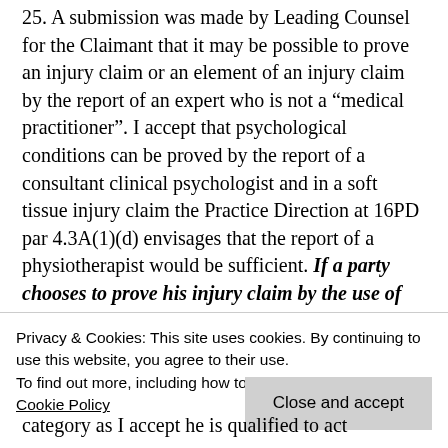25. A submission was made by Leading Counsel for the Claimant that it may be possible to prove an injury claim or an element of an injury claim by the report of an expert who is not a "medical practitioner". I accept that psychological conditions can be proved by the report of a consultant clinical psychologist and in a soft tissue injury claim the Practice Direction at 16PD par 4.3A(1)(d) envisages that the report of a physiotherapist would be sufficient. If a party chooses to prove his injury claim by the use of an expert who is not a medical practitioner then in my view he is required to
Privacy & Cookies: This site uses cookies. By continuing to use this website, you agree to their use. To find out more, including how to control cookies, see here: Cookie Policy
category as I accept he is qualified to act